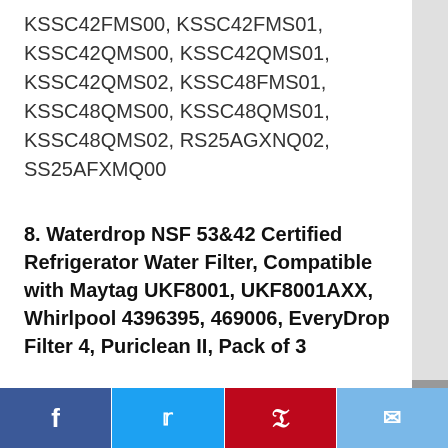KSSC42FMS00, KSSC42FMS01, KSSC42QMS00, KSSC42QMS01, KSSC42QMS02, KSSC48FMS01, KSSC48QMS00, KSSC48QMS01, KSSC48QMS02, RS25AGXNQ02, SS25AFXMQ00
8. Waterdrop NSF 53&42 Certified Refrigerator Water Filter, Compatible with Maytag UKF8001, UKF8001AXX, Whirlpool 4396395, 469006, EveryDrop Filter 4, Puriclean II, Pack of 3
Facebook Twitter Pinterest Email